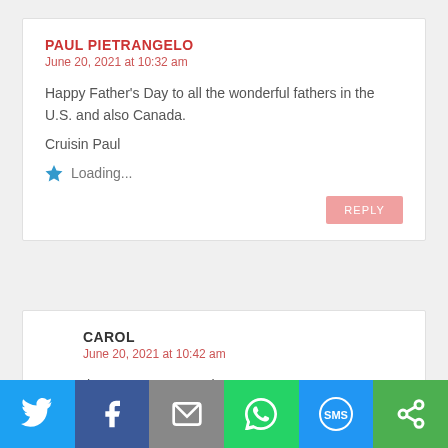PAUL PIETRANGELO
June 20, 2021 at 10:32 am
Happy Father's Day to all the wonderful fathers in the U.S. and also Canada.
Cruisin Paul
Loading...
REPLY
CAROL
June 20, 2021 at 10:42 am
the same to you Paul!